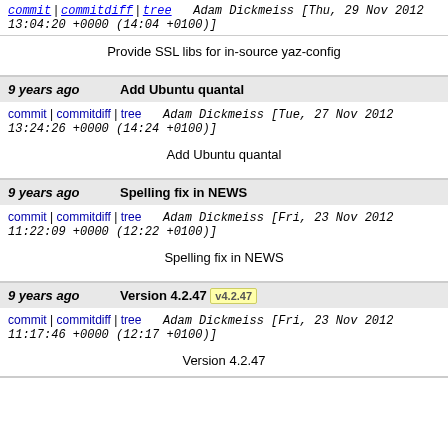9 years ago   Provide SSL libs for in-source yaz-config
commit | commitdiff | tree   Adam Dickmeiss [Thu, 29 Nov 2012 13:04:20 +0000 (14:04 +0100)]
Provide SSL libs for in-source yaz-config
9 years ago   Add Ubuntu quantal
commit | commitdiff | tree   Adam Dickmeiss [Tue, 27 Nov 2012 13:24:26 +0000 (14:24 +0100)]
Add Ubuntu quantal
9 years ago   Spelling fix in NEWS
commit | commitdiff | tree   Adam Dickmeiss [Fri, 23 Nov 2012 11:22:09 +0000 (12:22 +0100)]
Spelling fix in NEWS
9 years ago   Version 4.2.47  v4.2.47
commit | commitdiff | tree   Adam Dickmeiss [Fri, 23 Nov 2012 11:17:46 +0000 (12:17 +0100)]
Version 4.2.47